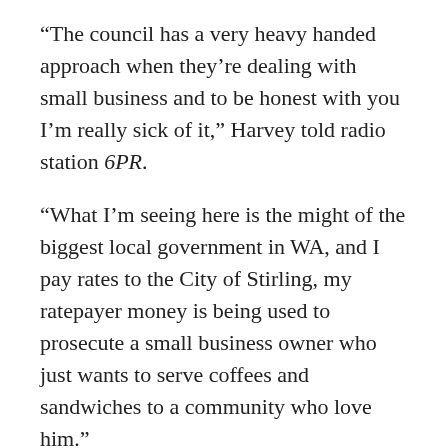“The council has a very heavy handed approach when they’re dealing with small business and to be honest with you I’m really sick of it,” Harvey told radio station 6PR.
“What I’m seeing here is the might of the biggest local government in WA, and I pay rates to the City of Stirling, my ratepayer money is being used to prosecute a small business owner who just wants to serve coffees and sandwiches to a community who love him.”
Harvey urged the council to withdraw the court action, saying the council should sit down with Pond rather than “throwing the book at him”.